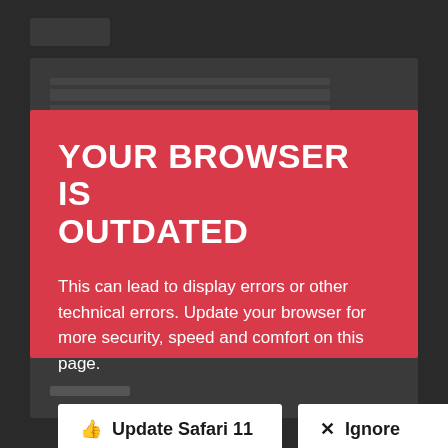YOUR BROWSER IS OUTDATED
This can lead to display errors or other technical errors. Update your browser for more security, speed and comfort on this page.
👍  Update Safari 11    ×  Ignore